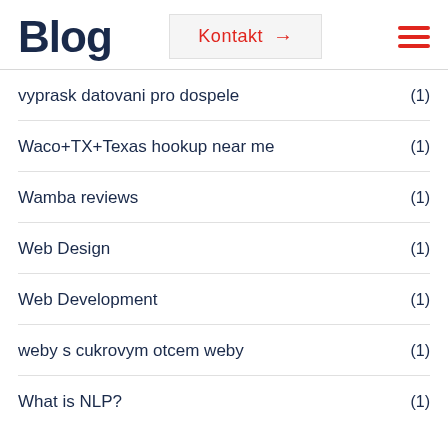Blog
Kontakt →
vyprask datovani pro dospele (1)
Waco+TX+Texas hookup near me (1)
Wamba reviews (1)
Web Design (1)
Web Development (1)
weby s cukrovym otcem weby (1)
What is NLP? (1)